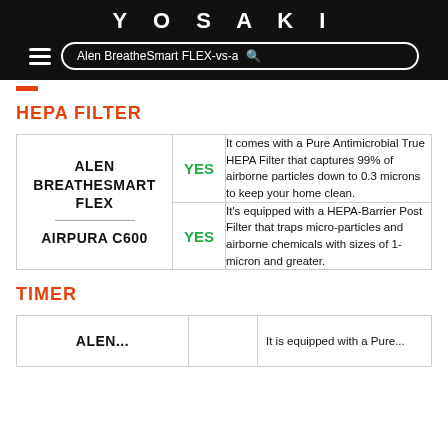YOSAKI — Search: Alen BreatheSmart FLEX-vs-airpura c600
HEPA FILTER
| Product |  | Description |
| --- | --- | --- |
| ALEN BREATHESMART FLEX | YES | It comes with a Pure Antimicrobial True HEPA Filter that captures 99% of airborne particles down to 0.3 microns to keep your home clean. |
| AIRPURA C600 | YES | It's equipped with a HEPA-Barrier Post Filter that traps micro-particles and airborne chemicals with sizes of 1-micron and greater. |
TIMER
| Product |  | Description |
| --- | --- | --- |
| ALEN... |  | It is equipped with a Pure... |